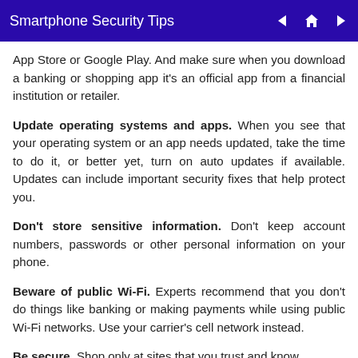Smartphone Security Tips
App Store or Google Play. And make sure when you download a banking or shopping app it's an official app from a financial institution or retailer.
Update operating systems and apps. When you see that your operating system or an app needs updated, take the time to do it, or better yet, turn on auto updates if available. Updates can include important security fixes that help protect you.
Don't store sensitive information. Don't keep account numbers, passwords or other personal information on your phone.
Beware of public Wi-Fi. Experts recommend that you don't do things like banking or making payments while using public Wi-Fi networks. Use your carrier's cell network instead.
Be secure. Shop only at sites that you trust and know